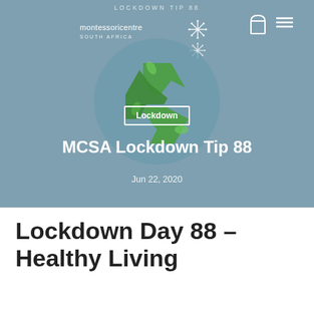LOCKDOWN TIP 88
[Figure (screenshot): Website header with Montessori Centre South Africa logo and navigation icons (bag and hamburger menu)]
[Figure (illustration): Green recycling arrows symbol in a circle on a steel blue background with a 'Lockdown' tag label]
MCSA Lockdown Tip 88
Jun 22, 2020
Lockdown Day 88 – Healthy Living